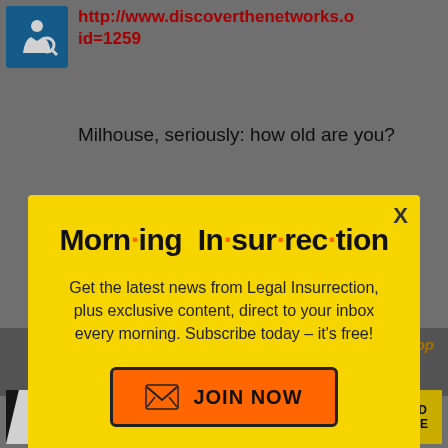http://www.discoverthenetworks.o id=1259
Milhouse, seriously: how old are you?
[Figure (screenshot): Modal popup with yellow background promoting 'Morning Insurrection' newsletter from Legal Insurrection, with JOIN NOW button]
exposure wa...gh.
Back to top
[Figure (screenshot): Advertisement banner: THE PERSPECTIVE - SEE WHAT YOU'RE MISSING - READ MORE]